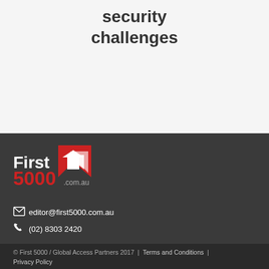security challenges
[Figure (logo): First 5000 .com.au logo with red arrow graphic]
editor@first5000.com.au
(02) 8303 2420
© First 5000 / Global Access Partners 2017  |  Terms and Conditions  |  Privacy Policy